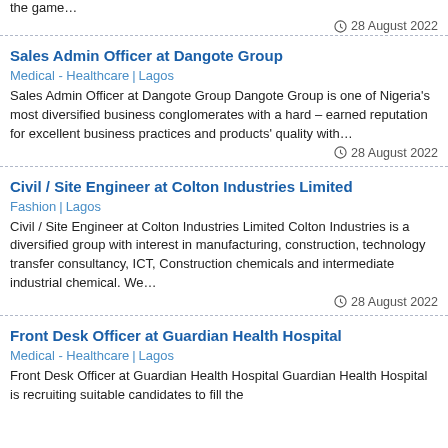the game…
28 August 2022
Sales Admin Officer at Dangote Group
Medical - Healthcare | Lagos
Sales Admin Officer at Dangote Group Dangote Group is one of Nigeria's most diversified business conglomerates with a hard – earned reputation for excellent business practices and products' quality with…
28 August 2022
Civil / Site Engineer at Colton Industries Limited
Fashion | Lagos
Civil / Site Engineer at Colton Industries Limited Colton Industries is a diversified group with interest in manufacturing, construction, technology transfer consultancy, ICT, Construction chemicals and intermediate industrial chemical. We…
28 August 2022
Front Desk Officer at Guardian Health Hospital
Medical - Healthcare | Lagos
Front Desk Officer at Guardian Health Hospital Guardian Health Hospital is recruiting suitable candidates to fill the